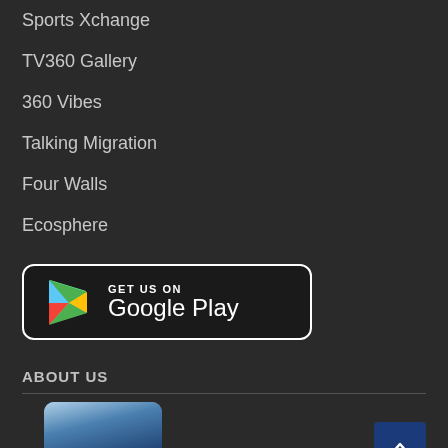Sports Xchange
TV360 Gallery
360 Vibes
Talking Migration
Four Walls
Ecosphere
[Figure (logo): Google Play store badge with colorful play icon triangle and text 'GET US ON Google Play' on dark background with white border]
ABOUT US
[Figure (screenshot): Partial view of TV360 logo/thumbnail image at bottom left, and a dark blue scroll-to-top button with upward chevron at bottom right]